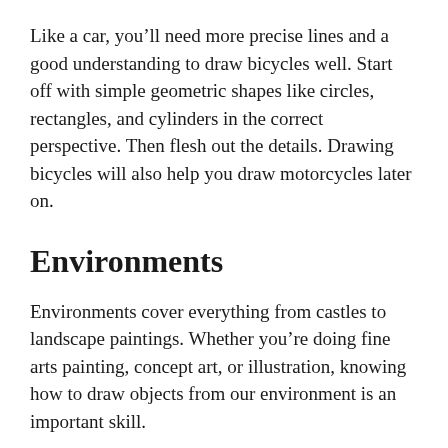Like a car, you'll need more precise lines and a good understanding to draw bicycles well. Start off with simple geometric shapes like circles, rectangles, and cylinders in the correct perspective. Then flesh out the details. Drawing bicycles will also help you draw motorcycles later on.
Environments
Environments cover everything from castles to landscape paintings. Whether you're doing fine arts painting, concept art, or illustration, knowing how to draw objects from our environment is an important skill.